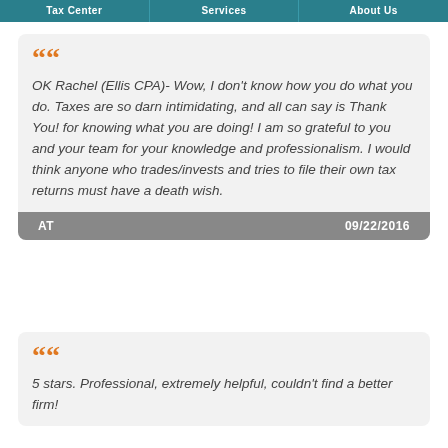Tax Center | Services | About Us
OK Rachel (Ellis CPA)- Wow, I don't know how you do what you do. Taxes are so darn intimidating, and all can say is Thank You! for knowing what you are doing! I am so grateful to you and your team for your knowledge and professionalism. I would think anyone who trades/invests and tries to file their own tax returns must have a death wish.
AT | 09/22/2016
5 stars. Professional, extremely helpful, couldn't find a better firm!